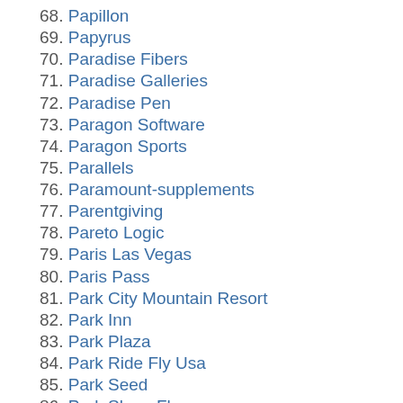68. Papillon
69. Papyrus
70. Paradise Fibers
71. Paradise Galleries
72. Paradise Pen
73. Paragon Software
74. Paragon Sports
75. Parallels
76. Paramount-supplements
77. Parentgiving
78. Pareto Logic
79. Paris Las Vegas
80. Paris Pass
81. Park City Mountain Resort
82. Park Inn
83. Park Plaza
84. Park Ride Fly Usa
85. Park Seed
86. Park Sleep Fly
87. Parliament Tutors
88. Parts Express
89. Parts Geek
90. Parts Train